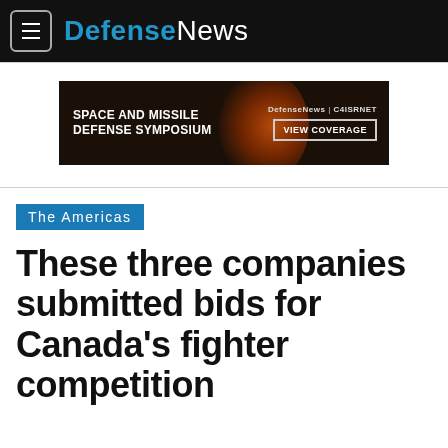DefenseNews
[Figure (other): Advertisement banner: SPACE AND MISSILE DEFENSE SYMPOSIUM — DefenseNews | C4ISRNET — VIEW COVERAGE]
The Americas
These three companies submitted bids for Canada's fighter competition